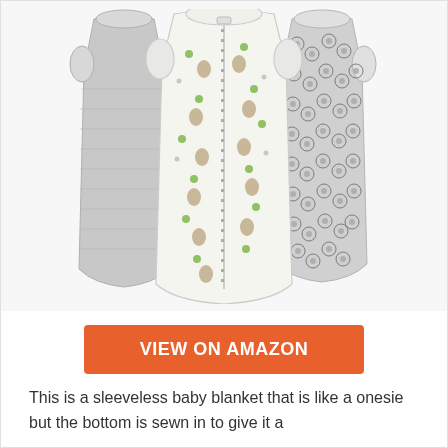[Figure (photo): Three baby sleep sacks displayed: a plain gray one on the left, a white one with green and brown animal/nature print and a center zipper in the middle, and a gray one with owl/bear face pattern on the right.]
VIEW ON AMAZON
This is a sleeveless baby blanket that is like a onesie but the bottom is sewn in to give it a